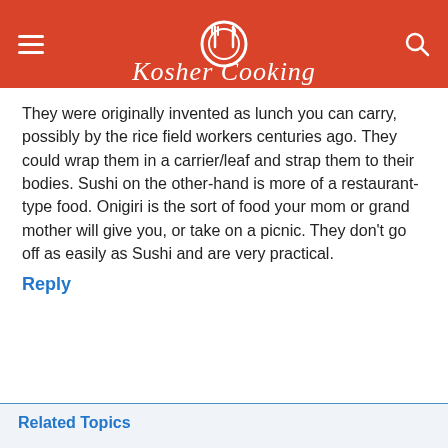Kosher Cooking
They were originally invented as lunch you can carry, possibly by the rice field workers centuries ago. They could wrap them in a carrier/leaf and strap them to their bodies. Sushi on the other-hand is more of a restaurant-type food. Onigiri is the sort of food your mom or grand mother will give you, or take on a picnic. They don't go off as easily as Sushi and are very practical.
Reply
Related Topics
Purim (576)